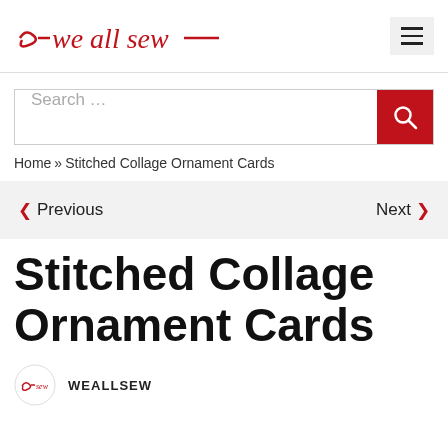we all sew
[Figure (screenshot): Search bar with red search button containing a magnifying glass icon]
Home » Stitched Collage Ornament Cards
< Previous   Next >
Stitched Collage Ornament Cards
WEALLSEW